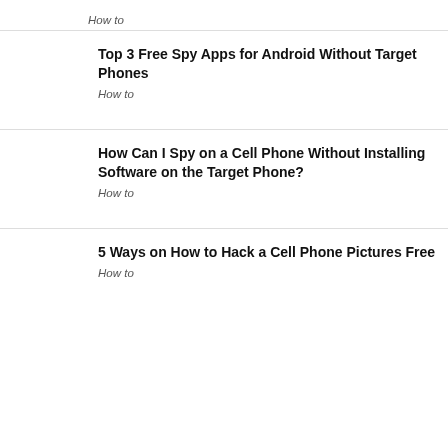How to
Top 3 Free Spy Apps for Android Without Target Phones
How to
How Can I Spy on a Cell Phone Without Installing Software on the Target Phone?
How to
5 Ways on How to Hack a Cell Phone Pictures Free
How to